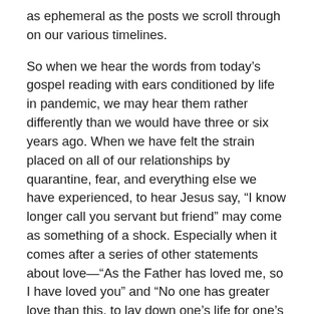as ephemeral as the posts we scroll through on our various timelines.
So when we hear the words from today’s gospel reading with ears conditioned by life in pandemic, we may hear them rather differently than we would have three or six years ago. When we have felt the strain placed on all of our relationships by quarantine, fear, and everything else we have experienced, to hear Jesus say, “I know longer call you servant but friend” may come as something of a shock. Especially when it comes after a series of other statements about love—“As the Father has loved me, so I have loved you” and “No one has greater love than this, to lay down one’s life for one’s friends.”
When we have struggled to maintain relationships without face-to-face contact, the sort of friendship, the sort of love